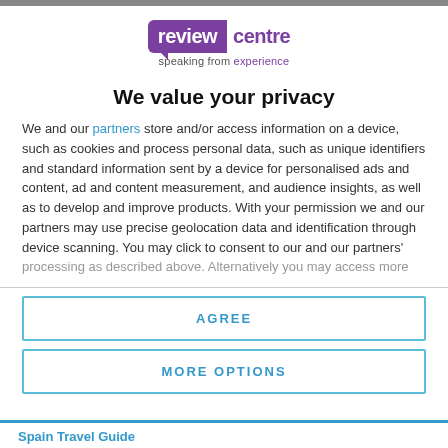[Figure (logo): Review Centre logo — purple speech bubble with 'review' in white and 'centre' in purple, tagline 'speaking from experience']
We value your privacy
We and our partners store and/or access information on a device, such as cookies and process personal data, such as unique identifiers and standard information sent by a device for personalised ads and content, ad and content measurement, and audience insights, as well as to develop and improve products. With your permission we and our partners may use precise geolocation data and identification through device scanning. You may click to consent to our and our partners' processing as described above. Alternatively you may access more
AGREE
MORE OPTIONS
Spain Travel Guide